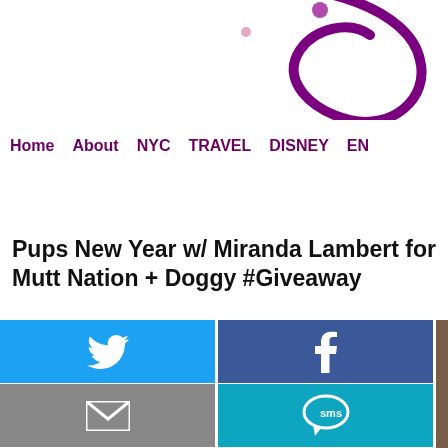[Figure (logo): Partial purple circular logo/swirl on white background]
Home   About   NYC   TRAVEL   DISNEY   EN
Pups New Year w/ Miranda Lambert for Mutt Nation + Doggy #Giveaway
[Figure (infographic): Social media sharing buttons grid: Twitter (light blue), Facebook (dark blue), Email (gray), SMS (teal), Pinterest (red), Recycle/share (green), and a partial photo of a dog on the right side]